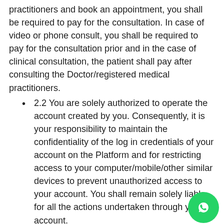practitioners and book an appointment, you shall be required to pay for the consultation. In case of video or phone consult, you shall be required to pay for the consultation prior and in the case of clinical consultation, the patient shall pay after consulting the Doctor/registered medical practitioners.
2.2 You are solely authorized to operate the account created by you. Consequently, it is your responsibility to maintain the confidentiality of the log in credentials of your account on the Platform and for restricting access to your computer/mobile/other similar devices to prevent unauthorized access to your account. You shall remain solely liable for all the actions undertaken through your account.
2.3 You will: (a) immediately inform us of any unauthorized use of the account or any other security breach; and (b) ensure that you log out of your account at the end of each session. We, our employees, agents, directors and officers will not be